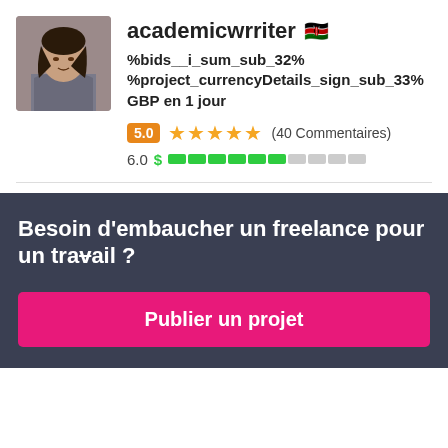[Figure (photo): Profile photo of a woman with dark hair wearing a grey jacket]
academicwrriter 🇰🇪
%bids__i_sum_sub_32% %project_currencyDetails_sign_sub_33% GBP en 1 jour
5.0 ★★★★★ (40 Commentaires)
6.0 $ ▓▓▓▓▓▓░░░░
Besoin d'embaucher un freelance pour un travail ?
Publier un projet